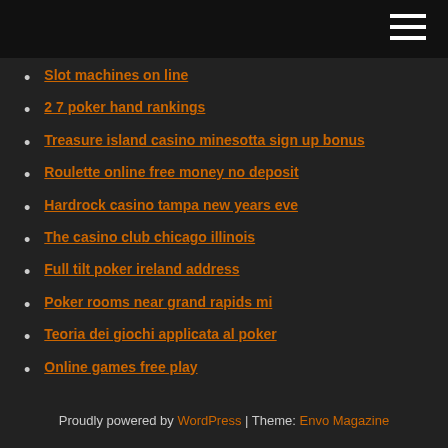Slot machines on line
2 7 poker hand rankings
Treasure island casino minesotta sign up bonus
Roulette online free money no deposit
Hardrock casino tampa new years eve
The casino club chicago illinois
Full tilt poker ireland address
Poker rooms near grand rapids mi
Teoria dei giochi applicata al poker
Online games free play
Slots huuuge casino mod apk
Proudly powered by WordPress | Theme: Envo Magazine